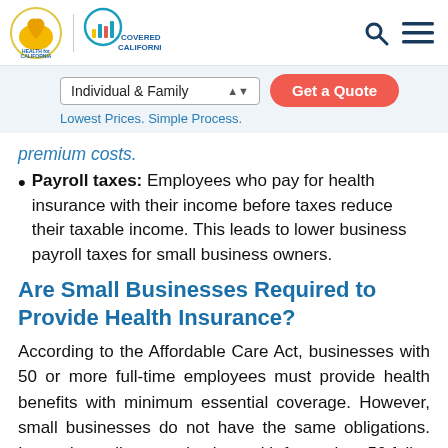[Figure (logo): Health for California and Covered California logos with search and menu icons]
[Figure (screenshot): Navigation bar with Individual & Family dropdown and Get a Quote button, tagline: Lowest Prices. Simple Process.]
premium costs.
Payroll taxes: Employees who pay for health insurance with their income before taxes reduce their taxable income. This leads to lower business payroll taxes for small business owners.
Are Small Businesses Required to Provide Health Insurance?
According to the Affordable Care Act, businesses with 50 or more full-time employees must provide health benefits with minimum essential coverage. However, small businesses do not have the same obligations. Instead, smaller organizations with fewer than 50 full-